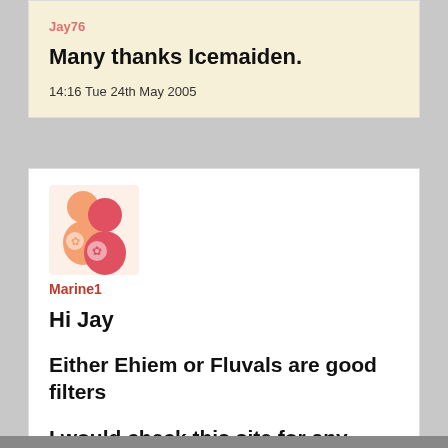Jay76
Many thanks Icemaiden.
14:16 Tue 24th May 2005
[Figure (illustration): Forum user avatar showing two cartoon people figures in orange/red tones]
Marine1
Hi Jay
Either Ehiem or Fluvals are good filters
I would check this site for any Tropical Fish queries you have, i used to be on